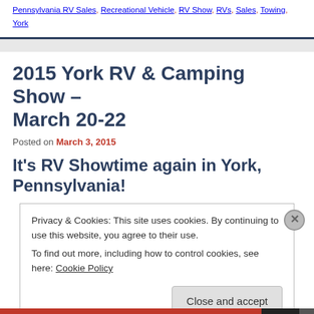Pennsylvania RV Sales, Recreational Vehicle, RV Show, RVs, Sales, Towing, York
2015 York RV & Camping Show – March 20-22
Posted on March 3, 2015
It's RV Showtime again in York, Pennsylvania!
Privacy & Cookies: This site uses cookies. By continuing to use this website, you agree to their use.
To find out more, including how to control cookies, see here: Cookie Policy
Close and accept